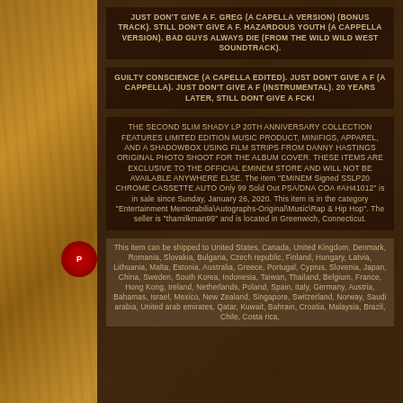JUST DON'T GIVE A F. GREG (A CAPELLA VERSION) (BONUS TRACK). STILL DON'T GIVE A F. HAZARDOUS YOUTH (A CAPPELLA VERSION). BAD GUYS ALWAYS DIE (FROM THE WILD WILD WEST SOUNDTRACK).
GUILTY CONSCIENCE (A CAPELLA EDITED). JUST DON'T GIVE A F (A CAPPELLA). JUST DON'T GIVE A F (INSTRUMENTAL). 20 YEARS LATER, STILL DONT GIVE A FCK!
THE SECOND SLIM SHADY LP 20TH ANNIVERSARY COLLECTION FEATURES LIMITED EDITION MUSIC PRODUCT, MINIFIGS, APPAREL, AND A SHADOWBOX USING FILM STRIPS FROM DANNY HASTINGS ORIGINAL PHOTO SHOOT FOR THE ALBUM COVER. THESE ITEMS ARE EXCLUSIVE TO THE OFFICIAL EMINEM STORE AND WILL NOT BE AVAILABLE ANYWHERE ELSE. The item "EMINEM Signed SSLP20 CHROME CASSETTE AUTO Only 99 Sold Out PSA/DNA COA #AH41012" is in sale since Sunday, January 26, 2020. This item is in the category "Entertainment Memorabilia\Autographs-Original\Music\Rap & Hip Hop". The seller is "thamilkman99" and is located in Greenwich, Connecticut.
This item can be shipped to United States, Canada, United Kingdom, Denmark, Romania, Slovakia, Bulgaria, Czech republic, Finland, Hungary, Latvia, Lithuania, Malta, Estonia, Australia, Greece, Portugal, Cyprus, Slovenia, Japan, China, Sweden, South Korea, Indonesia, Taiwan, Thailand, Belgium, France, Hong Kong, Ireland, Netherlands, Poland, Spain, Italy, Germany, Austria, Bahamas, Israel, Mexico, New Zealand, Singapore, Switzerland, Norway, Saudi arabia, United arab emirates, Qatar, Kuwait, Bahrain, Croatia, Malaysia, Brazil, Chile, Costa rica,